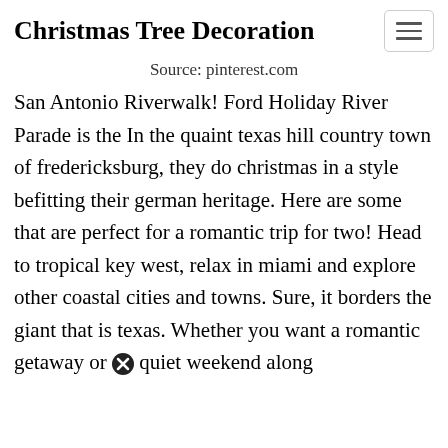Christmas Tree Decoration
Source: pinterest.com
San Antonio Riverwalk! Ford Holiday River Parade is the In the quaint texas hill country town of fredericksburg, they do christmas in a style befitting their german heritage. Here are some that are perfect for a romantic trip for two! Head to tropical key west, relax in miami and explore other coastal cities and towns. Sure, it borders the giant that is texas. Whether you want a romantic getaway or a quiet weekend along